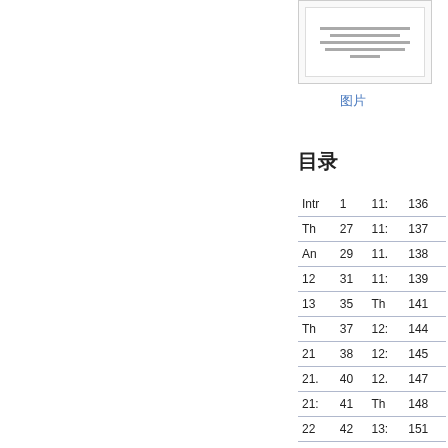[Figure (screenshot): Thumbnail preview of a document page with text lines]
图片
目录
| Intr | 1 | 11: | 136 |
| Th | 27 | 11: | 137 |
| An | 29 | 11. | 138 |
| 12 | 31 | 11: | 139 |
| 13 | 35 | Th | 141 |
| Th | 37 | 12: | 144 |
| 21 | 38 | 12: | 145 |
| 21. | 40 | 12. | 147 |
| 21: | 41 | Th | 148 |
| 22 | 42 | 13: | 151 |
| 22: | 46 | 13: | 152 |
| 23 | 48 | 13. | 154 |